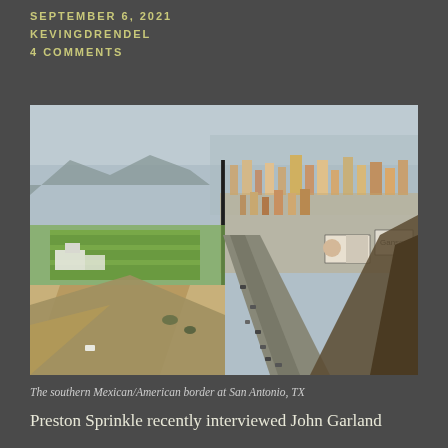SEPTEMBER 6, 2021
KEVINGDRENDEL
4 COMMENTS
[Figure (photo): Aerial view of the southern Mexican/American border showing the border fence, sparse US side with green fields, and dense urban Mexican side with roads and buildings, at San Antonio, TX]
The southern Mexican/American border at San Antonio, TX
Preston Sprinkle recently interviewed John Garland